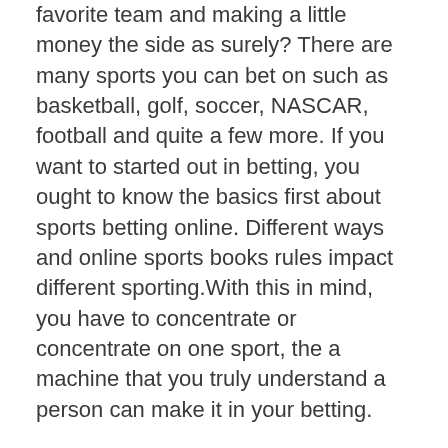favorite team and making a little money the side as surely? There are many sports you can bet on such as basketball, golf, soccer, NASCAR, football and quite a few more. If you want to started out in betting, you ought to know the basics first about sports betting online. Different ways and online sports books rules impact different sporting.With this in mind, you have to concentrate or concentrate on one sport, the a machine that you truly understand a person can make it in your betting.
There exist several things you should do in order to place your bets and win the hard earned cash. Football is one of the sports that have gained great betting interests from bettors. For instance, Premier League betting enables bettors to position various bets on a match bulb. In the Premier League, you can put bets on goals become scored in one specific period, for instance, the first half in the match happening. You can also place bets on the greatest scorer and so on. More